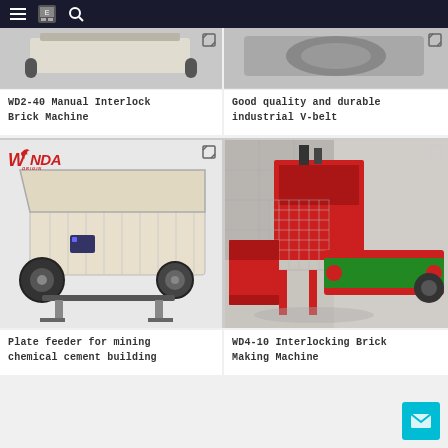Navigation bar with menu, logo, and search icons
[Figure (photo): WD2-40 Manual Interlock Brick Machine product photo (partially visible, cropped at top)]
WD2-40 Manual Interlock Brick Machine
[Figure (photo): Good quality and durable industrial V-belt product photo (partially visible, cropped at top)]
Good quality and durable industrial V-belt
[Figure (photo): Plate feeder for mining chemical cement building — industrial machinery photo showing large conveyor/feeder equipment with WONDA logo]
Plate feeder for mining chemical cement building
[Figure (photo): WD4-10 Interlocking Brick Making Machine — red industrial brick making machine photo]
WD4-10 Interlocking Brick Making Machine